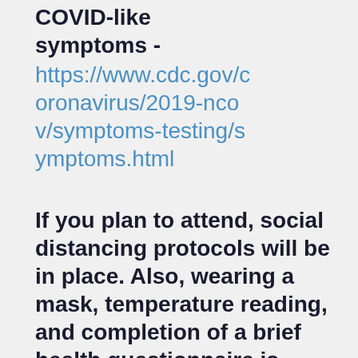COVID-like symptoms -
https://www.cdc.gov/coronavirus/2019-ncov/symptoms-testing/symptoms.html
If you plan to attend, social distancing protocols will be in place. Also, wearing a mask, temperature reading, and completion of a brief health questionnaire is